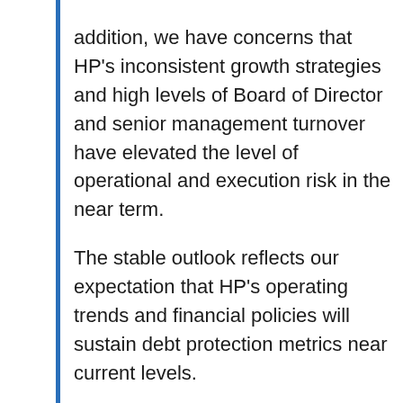addition, we have concerns that HP's inconsistent growth strategies and high levels of Board of Director and senior management turnover have elevated the level of operational and execution risk in the near term.
The stable outlook reflects our expectation that HP's operating trends and financial policies will sustain debt protection metrics near current levels.
We could lower the rating if debt to EBITDA is likely to exceed the low-2x area on a sustained basis because of weaker operations or incremental debt. A higher rating is unlikely for the near-to-